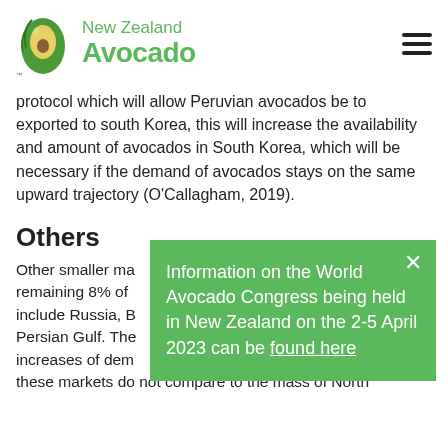[Figure (logo): New Zealand Avocado logo with avocado icon and green text]
protocol which will allow Peruvian avocados be to exported to south Korea, this will increase the availability and amount of avocados in South Korea, which will be necessary if the demand of avocados stays on the same upward trajectory (O'Callagham, 2019).
Others
Other smaller ma... remaining 8% of ... include Russia, B... Persian Gulf. The ... increases of dem... these markets do not compare to the mass of North ...
Information on the World Avocado Congress being held in New Zealand on the 2-5 April 2023 can be found here